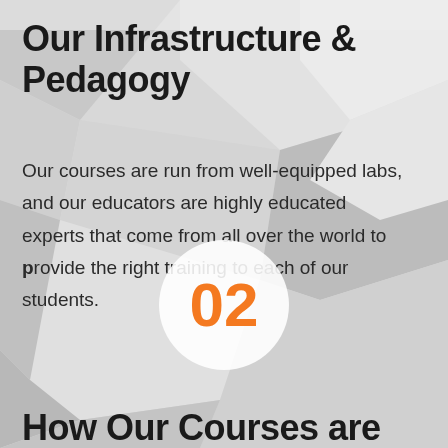Our Infrastructure & Pedagogy
Our courses are run from well-equipped labs, and our educators are highly educated experts that come from all over the world to provide the right training to each of our students.
[Figure (infographic): Circle badge with the number 02 in orange on a white circular background, overlaid on a geometric polygon background]
How Our Courses are